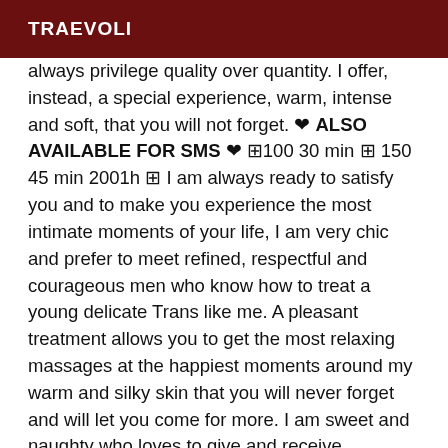TRAEVOLI
always privilege quality over quantity. I offer, instead, a special experience, warm, intense and soft, that you will not forget. ❤ ALSO AVAILABLE FOR SMS ❤ ⊞100 30 min ⊞ 150 45 min 2001h ⊞ I am always ready to satisfy you and to make you experience the most intimate moments of your life, I am very chic and prefer to meet refined, respectful and courageous men who know how to treat a young delicate Trans like me. A pleasant treatment allows you to get the most relaxing massages at the happiest moments around my warm and silky skin that you will never forget and will let you come for more. I am sweet and naughty who loves to give and receive pleasure...I will do my best to make you feel comfortable and satisfy your desires...I will know how to fill you with pleasure and satisfy your every desire. Please contact me by phone 30 minutes in advance so that I can prepare for our special occasion. private, discreet, comfortable and hygienic apartment Very easy to park! I